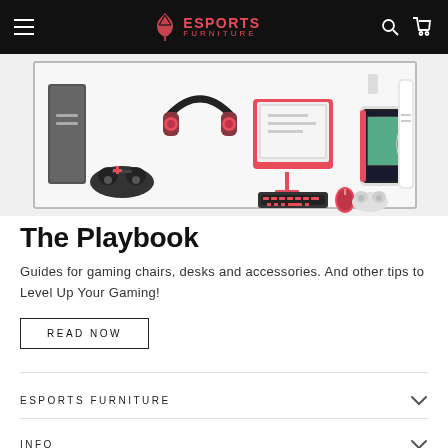ESPORTS FURNITURE
[Figure (illustration): Gaming setup illustration showing a PS4 console, headphones, monitor/keyboard/mouse, Nintendo Switch, and PS5 console on a light background with a frame border]
The Playbook
Guides for gaming chairs, desks and accessories. And other tips to Level Up Your Gaming!
READ NOW
ESPORTS FURNITURE
INFO